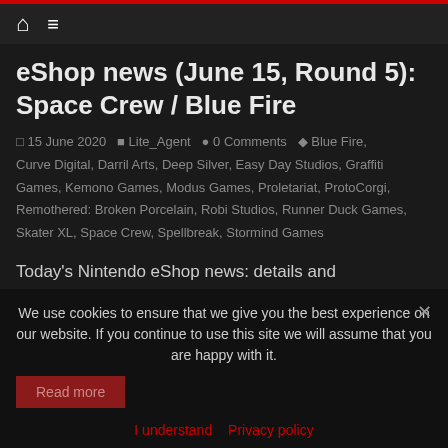Home / Menu
eShop news (June 15, Round 5): Space Crew / Blue Fire
15 June 2020  Lite_Agent  0 Comments  Blue Fire, Curve Digital, Darril Arts, Deep Silver, Easy Day Studios, Graffiti Games, Kemono Games, Modus Games, Proletariat, ProtoCorgi, Remothered: Broken Porcelain, Robi Studios, Runner Duck Games, Skater XL, Space Crew, Spellbreak, Stormind Games
Today's Nintendo eShop news: details and screenshots for Space Crew, Blue Fire delayed to early 2021, release date for Remothered: Broken Porcelain, ProtoCorgi announced for the Nintendo Switch, details for Spellbreak and a new map, release date for Skater XL…
We use cookies to ensure that we give you the best experience on our website. If you continue to use this site we will assume that you are happy with it.
I understand  Privacy policy